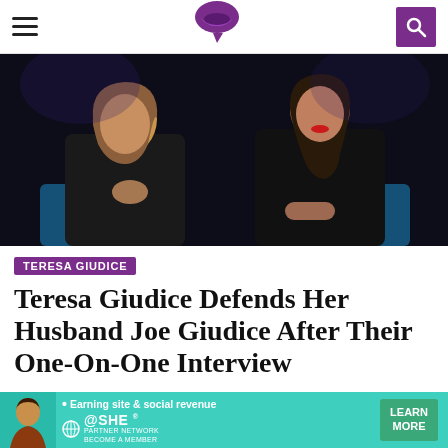Navigation bar with hamburger menu, lip-icon logo, and search button
[Figure (photo): Two women seated on blue chairs against a dark background. Left woman has blond-brown hair, black outfit, hands clasped at chest. Right woman has long dark hair, red lips, black sparkly blazer.]
TERESA GIUDICE
Teresa Giudice Defends Her Husband Joe Giudice After Their One-On-One Interview
[Figure (infographic): Advertisement banner: teal background with woman image on left, bullet point 'Earning site & social revenue', SHE PARTNER NETWORK logo, 'BECOME A MEMBER' text, and green 'LEARN MORE' button.]